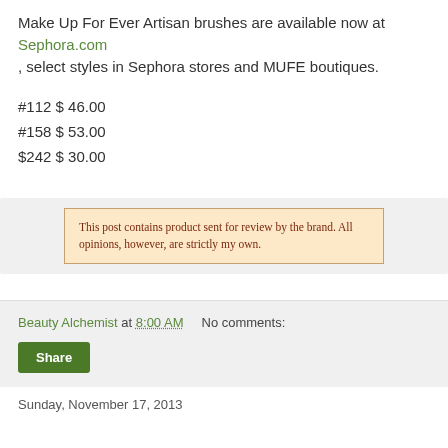Make Up For Ever Artisan brushes are available now at Sephora.com , select styles in Sephora stores and MUFE boutiques.
#112 $ 46.00
#158 $ 53.00
$242 $ 30.00
This post contains product sent for review by the brand. All opinions, however, are strictly my own.
Beauty Alchemist at 8:00 AM   No comments:
Sunday, November 17, 2013